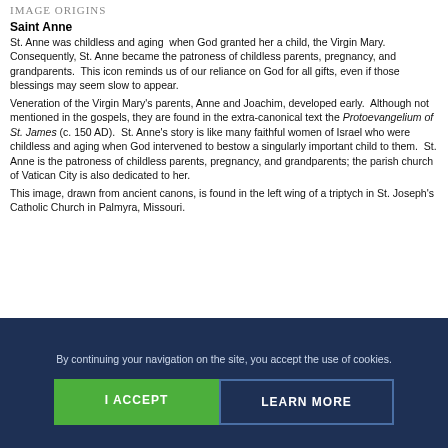IMAGE ORIGINS
Saint Anne
St. Anne was childless and aging when God granted her a child, the Virgin Mary. Consequently, St. Anne became the patroness of childless parents, pregnancy, and grandparents. This icon reminds us of our reliance on God for all gifts, even if those blessings may seem slow to appear.
Veneration of the Virgin Mary's parents, Anne and Joachim, developed early. Although not mentioned in the gospels, they are found in the extra-canonical text the Protoevangelium of St. James (c. 150 AD). St. Anne's story is like many faithful women of Israel who were childless and aging when God intervened to bestow a singularly important child to them. St. Anne is the patroness of childless parents, pregnancy, and grandparents; the parish church of Vatican City is also dedicated to her.
This image, drawn from ancient canons, is found in the left wing of a triptych in St. Joseph's Catholic Church in Palmyra, Missouri.
By continuing your navigation on the site, you accept the use of cookies.